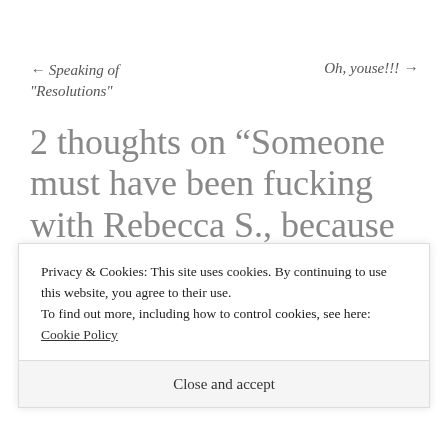← Speaking of “Resolutions”
Oh, youse!!! →
2 thoughts on “Someone must have been fucking with Rebecca S., because without having done something of a rational
Privacy & Cookies: This site uses cookies. By continuing to use this website, you agree to their use.
To find out more, including how to control cookies, see here: Cookie Policy
Close and accept